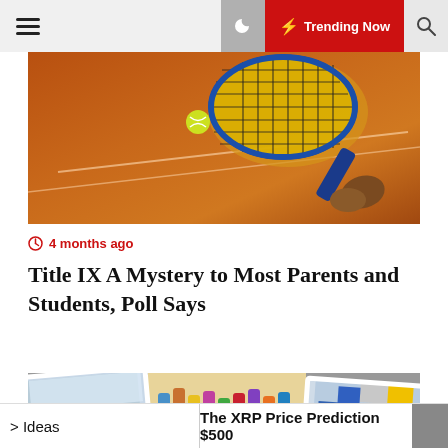☰ 🌙 ⚡ Trending Now 🔍
[Figure (photo): Tennis player on clay court holding a racket, overhead angle view]
4 months ago
Title IX A Mystery to Most Parents and Students, Poll Says
[Figure (photo): Photo collage of travel images: snowy cityscape, colorful spices at a market, blue building with flags]
Ideas | The XRP Price Prediction $500